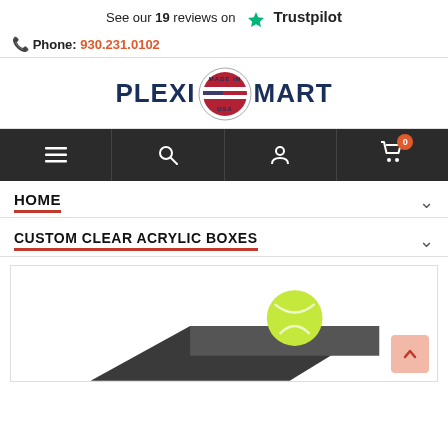See our 19 reviews on ★ Trustpilot
Phone: 930.231.0102
[Figure (logo): PLEXI MART logo with Made in USA American flag badge, dark navy text]
[Figure (screenshot): Dark navigation bar with hamburger menu, search, user account, and shopping cart icons (cart shows badge with 0)]
HOME
CUSTOM CLEAR ACRYLIC BOXES
[Figure (photo): Product photo showing a clear acrylic box lid (dark surface) with a yellow-green tennis ball on top, partially cropped]